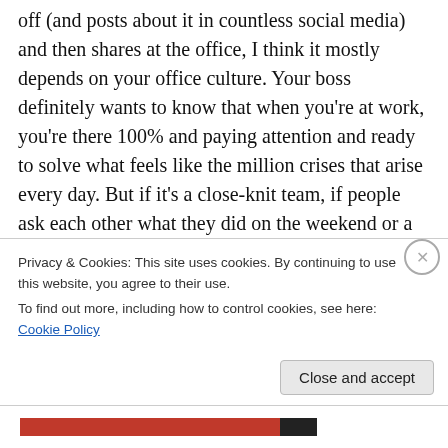off (and posts about it in countless social media) and then shares at the office, I think it mostly depends on your office culture. Your boss definitely wants to know that when you're at work, you're there 100% and paying attention and ready to solve what feels like the million crises that arise every day. But if it's a close-knit team, if people ask each other what they did on the weekend or a weeknight or how the family is, etc. then it's perfectly great to share. Sometimes, though, the boss wants to keep his/her distance
Privacy & Cookies: This site uses cookies. By continuing to use this website, you agree to their use.
To find out more, including how to control cookies, see here: Cookie Policy
Close and accept